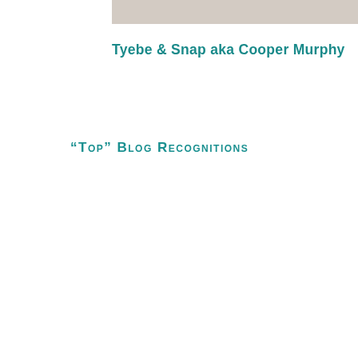[Figure (photo): Partially visible photo of Tyebe and Snap aka Cooper Murphy at the top of the page]
Tyebe & Snap aka Cooper Murphy
COMMENTS ON THIS
PREVIOUS POST: A
NEXT POST: I WO
“Top” Blog Recognitions